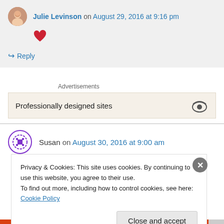Julie Levinson on August 29, 2016 at 9:16 pm
[Figure (illustration): Red heart icon]
↪ Reply
Advertisements
Professionally designed sites
Susan on August 30, 2016 at 9:00 am
Privacy & Cookies: This site uses cookies. By continuing to use this website, you agree to their use.
To find out more, including how to control cookies, see here: Cookie Policy
Close and accept